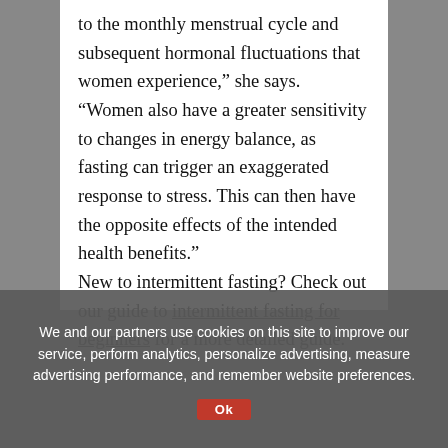to the monthly menstrual cycle and subsequent hormonal fluctuations that women experience,” she says. “Women also have a greater sensitivity to changes in energy balance, as fasting can trigger an exaggerated response to stress. This can then have the opposite effects of the intended health benefits.”

New to intermittent fasting? Check out our guide to intermittent fasting for beginners for a more detailed guide.
We and our partners use cookies on this site to improve our service, perform analytics, personalize advertising, measure advertising performance, and remember website preferences.